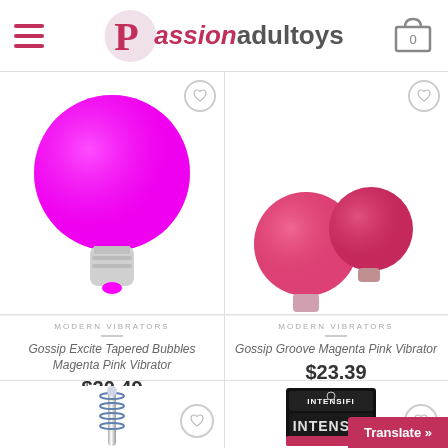Passionadultoys — navigation header with hamburger menu and cart icon showing 0
MODERN VIBRATORS
Gossip Excite Tapered Bubbles Magenta Pink Vibrator
$20.49
MODERN VIBRATORS
Gossip Groove Magenta Pink Vibrator
$23.39
[Figure (photo): Magenta pink round bulb-shaped vibrator on white background]
[Figure (photo): Two magenta pink round vibrators on white background]
[Figure (photo): Silver metallic spiral wand vibrator]
[Figure (photo): INTENSIFI brand product box packaging in black and hot pink]
Translate »